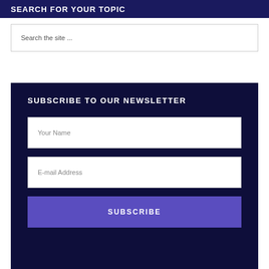SEARCH FOR YOUR TOPIC
Search the site ...
SUBSCRIBE TO OUR NEWSLETTER
Your Name
E-mail Address
SUBSCRIBE